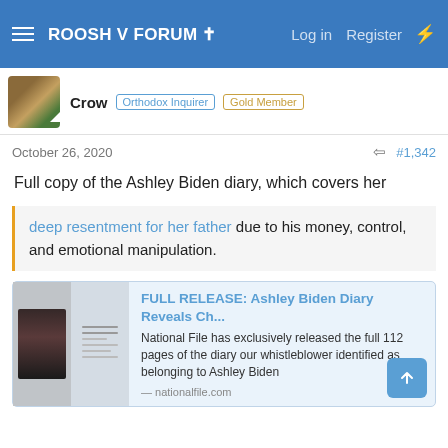ROOSH V FORUM ✝   Log in   Register
Crow  Orthodox Inquirer  Gold Member
October 26, 2020   #1,342
Full copy of the Ashley Biden diary, which covers her
deep resentment for her father due to his money, control, and emotional manipulation.
FULL RELEASE: Ashley Biden Diary Reveals Ch...
National File has exclusively released the full 112 pages of the diary our whistleblower identified as belonging to Ashley Biden
nationalfile.com